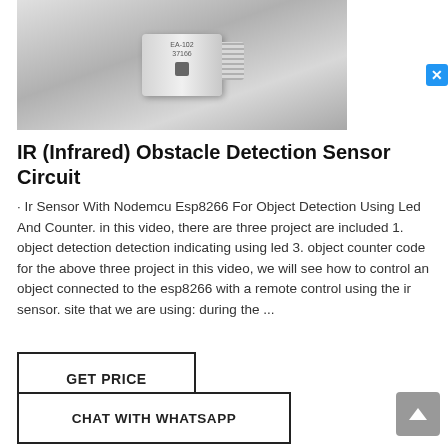[Figure (photo): Close-up photo of a stainless steel IR infrared obstacle detection sensor with threaded end, labeled EA-102 37166, on grey background]
IR (Infrared) Obstacle Detection Sensor Circuit
· Ir Sensor With Nodemcu Esp8266 For Object Detection Using Led And Counter. in this video, there are three project are included 1. object detection detection indicating using led 3. object counter code for the above three project in this video, we will see how to control an object connected to the esp8266 with a remote control using the ir sensor. site that we are using: during the ...
GET PRICE
CHAT WITH WHATSAPP